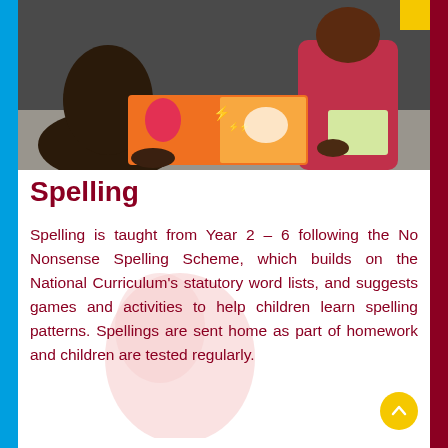[Figure (photo): Children sitting at a table reading colorful comic-style books. One child wears pink/red long sleeves.]
Spelling
Spelling is taught from Year 2 – 6 following the No Nonsense Spelling Scheme, which builds on the National Curriculum's statutory word lists, and suggests games and activities to help children learn spelling patterns. Spellings are sent home as part of homework and children are tested regularly.